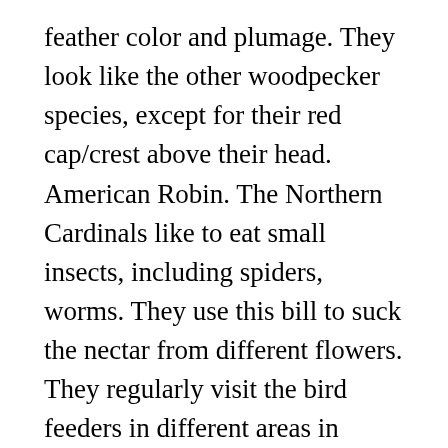feather color and plumage. They look like the other woodpecker species, except for their red cap/crest above their head. American Robin. The Northern Cardinals like to eat small insects, including spiders, worms. They use this bill to suck the nectar from different flowers. They regularly visit the bird feeders in different areas in search of food. The Eastern Phoebe bird, which is also known as the Sayornis phoebe, is a small size bird from the passerine family phoebes. These birds usually travel in flocks outside of ... Male and female slightly differ in shape and dimensions. The House Finch is a very social bird, and it visits the human settlements frequently. They eat small insects of different types, including ants, will...